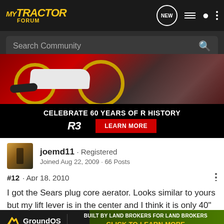MyTractor Forum
[Figure (screenshot): Search Community bar with magnifying glass icon on dark background]
[Figure (photo): Advertisement: Yamaha R3 motorcycle. Text reads CELEBRATE 60 YEARS OF R HISTORY, R3, LEARN MORE]
joemd11 · Registered
Joined Aug 22, 2009 · 66 Posts
#12 · Apr 18, 2010
I got the Sears plug core aerator. Looks similar to yours but my lift lever is in the center and I think it is only 40" wide. I did the yard las ... e weed and fee ... as
[Figure (screenshot): Bottom overlay ad: GroundOS - BUILT BY LAND BROKERS FOR LAND BROKERS CLICK TO LEARN MORE]